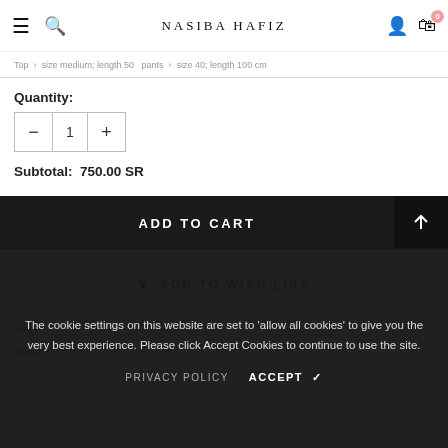NASIBA HAFIZ
Top  size medium; length 50  pants  size 40; length 100 cm
Quantity:
1
Subtotal:  750.00 SR
ADD TO CART
ADD TO WISH LIST
Tags:
Share:
The cookie settings on this website are set to 'allow all cookies' to give you the very best experience. Please click Accept Cookies to continue to use the site.
PRIVACY POLICY
ACCEPT ✓